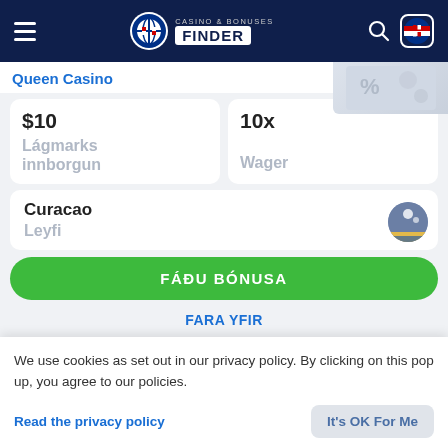Casino & Bonuses Finder
Queen Casino
$10
Lágmarks innborgun
10x
Wager
Curacao
Leyfi
FÁÐU BÓNUSA
FARA YFIR
We use cookies as set out in our privacy policy. By clicking on this pop up, you agree to our policies.
Read the privacy policy
It's OK For Me